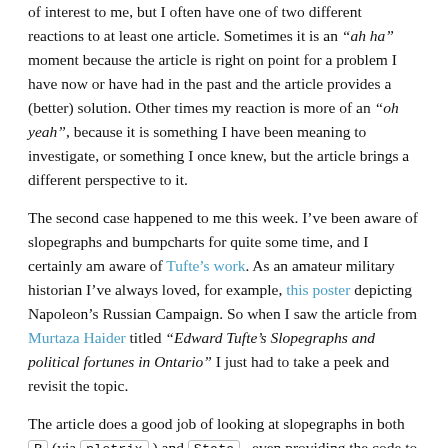of interest to me, but I often have one of two different reactions to at least one article. Sometimes it is an “ah ha” moment because the article is right on point for a problem I have now or have had in the past and the article provides a (better) solution. Other times my reaction is more of an “oh yeah”, because it is something I have been meaning to investigate, or something I once knew, but the article brings a different perspective to it.
The second case happened to me this week. I’ve been aware of slopegraphs and bumpcharts for quite some time, and I certainly am aware of Tufte’s work. As an amateur military historian I’ve always loved, for example, this poster depicting Napoleon’s Russian Campaign. So when I saw the article from Murtaza Haider titled “Edward Tufte’s Slopegraphs and political fortunes in Ontario” I just had to take a peek and revisit the topic.
The article does a good job of looking at slopegraphs in both R (via plotrix ) and Stata , even providing the code to do the work. My challenge was that even though I’m adequate at plotting in base R, I much prefer using ggplot2 wherever and whenever possible. My memory was that I had seen another article on the related topic of a bumpchart on R-bloggers in the not too distant past. A little sleuthing turned up this earlier article from Dominik Koch who wrote